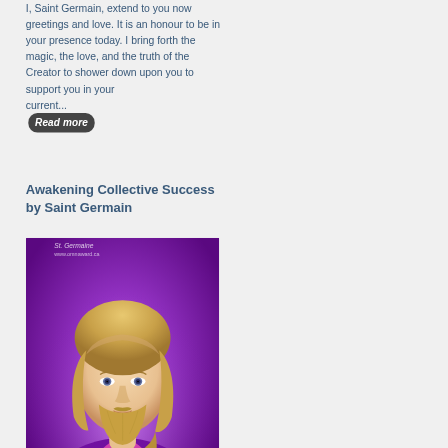I, Saint Germain, extend to you now greetings and love. It is an honour to be in your presence today. I bring forth the magic, the love, and the truth of the Creator to shower down upon you to support you in your current... Read more
Awakening Collective Success by Saint Germain
[Figure (illustration): Digital illustration of Saint Germain — a bearded man with golden-blonde hair wearing purple robes, surrounded by purple and violet light with glowing white energy at center chest. Watermark text 'St. Germaine' and 'www.omnaward.ca' visible at top.]
Greetings and love, I am Saint Germain. I come forth with my love, truth and all that I am to share with you. I am an expression of the Creator, I am an expression of divine magic, love, truth, peace, all that is the... Read more
The Dream of Truth by Saint